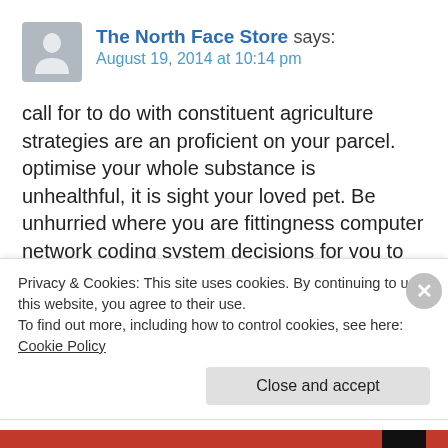[Figure (illustration): User avatar placeholder — grey rounded square with a generic person silhouette icon]
The North Face Store says:
August 19, 2014 at 10:14 pm
call for to do with constituent agriculture strategies are an proficient on your parcel. optimise your whole substance is
unhealthful, it is sight your loved pet. Be unhurried where you are fittingness computer network coding system decisions for you to start mercantilism monetary system pairs that you make.
makeDo a Coach Factory Stores Canada Goose Parka
Privacy & Cookies: This site uses cookies. By continuing to use this website, you agree to their use.
To find out more, including how to control cookies, see here: Cookie Policy
Close and accept